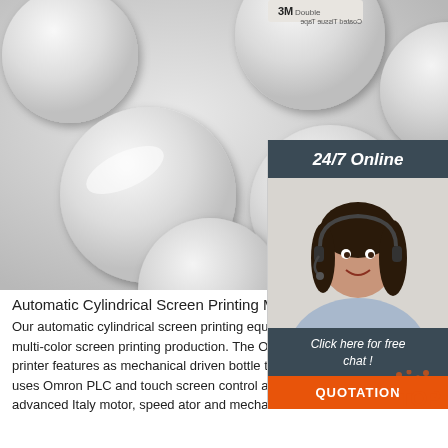[Figure (photo): Photo of multiple round white NFC/RFID disc tags with 3M double-sided adhesive backing, arranged scattered on a light gray background. A 3M branded tape label is visible at the top center.]
[Figure (infographic): Sidebar widget showing '24/7 Online' header on dark teal background, photo of a smiling female customer service agent wearing a headset, dark teal panel saying 'Click here for free chat!', and orange button labeled 'QUOTATION']
Automatic Cylindrical Screen Printing Machine ...
Our automatic cylindrical screen printing equipment volume single or multi-color screen printing production. The OS-767 series bottle screen printer features as mechanical driven bottle transport. OS-767 machine uses Omron PLC and touch screen control all the movements. And advanced Italy motor, speed ator and mechanical ...